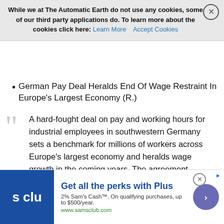While we at The Automatic Earth do not use any cookies, some of our third party applications do. To learn more about the cookies click here: Learn More   Accept Cookies
German Pay Deal Heralds End Of Wage Restraint In Europe's Largest Economy (R.)
A hard-fought deal on pay and working hours for industrial employees in southwestern Germany sets a benchmark for millions of workers across Europe's largest economy and heralds wage growth in the coming years. The agreement between labour union IG Metall and the Suedwestmetall employers' federation, struck overnight, foresees a 4.3% pay raise from April and other payments spread over 27 months. Tough pay negotiations are expected to end years of wage restraint in Germany, potentially aiding the ECB as it tries to get euro zone inflation back up to the bank's target rate of just below 2%. On an annual basis, the agreement is equivalent to a 3.5% increase in wages, according to Commerzbank analyst Eckart Tuchtfeld, well
[Figure (other): Sam's Club advertisement banner: Get all the perks with Plus. 2% Sam's Cash™. On qualifying purchases, up to $500/year. www.samsclub.com]